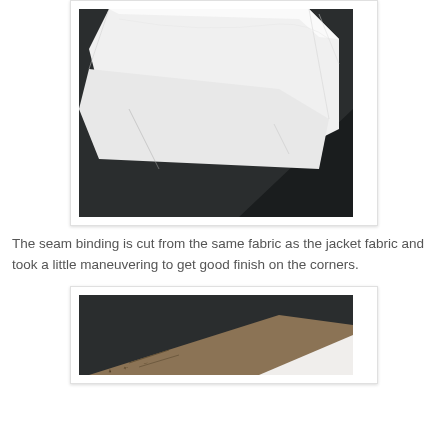[Figure (photo): White fabric/batting material laid out on a dark background, cut at an angle showing the texture and layers of the fabric]
The seam binding is cut from the same fabric as the jacket fabric and took a little maneuvering to get good finish on the corners.
[Figure (photo): A partial view of what appears to be pattern pieces or fabric on a dark background, partially visible at the bottom of the page]